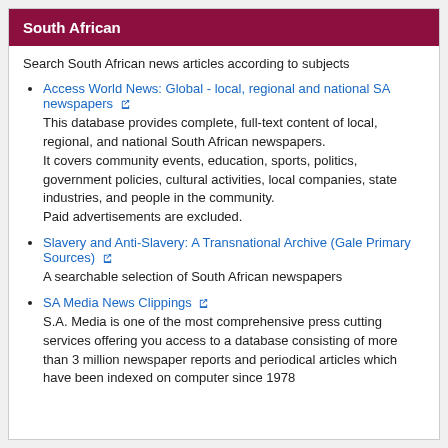South African
Search South African news articles according to subjects
Access World News: Global - local, regional and national SA newspapers
This database provides complete, full-text content of local, regional, and national South African newspapers.
It covers community events, education, sports, politics, government policies, cultural activities, local companies, state industries, and people in the community.
Paid advertisements are excluded.
Slavery and Anti-Slavery: A Transnational Archive (Gale Primary Sources)
A searchable selection of South African newspapers
SA Media News Clippings
S.A. Media is one of the most comprehensive press cutting services offering you access to a database consisting of more than 3 million newspaper reports and periodical articles which have been indexed on computer since 1978